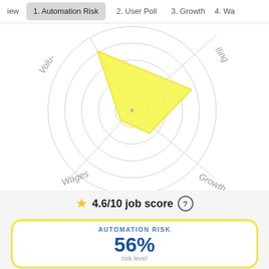iew  1. Automation Risk  2. User Poll  3. Growth  4. Wa
[Figure (radar-chart): Radar chart with axes for Volume (Volu-), Wages, Growth, and a fourth partially visible axis (clling). A yellow filled region covers roughly the upper-left quadrant of the chart, indicating high scores on Volume and moderate on adjacent axes. Concentric circular gridlines visible.]
★ 4.6/10 job score ⓘ
AUTOMATION RISK
56%
risk level